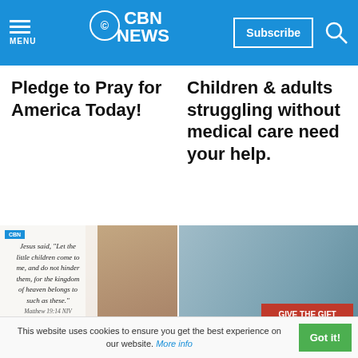[Figure (logo): CBN News logo with subscribe button and menu/search icons on blue header bar]
Pledge to Pray for America Today!
Children & adults struggling without medical care need your help.
[Figure (photo): Scripture card with quote: Jesus said, "Let the little children come to me, and do not hinder them, for the kingdom of heaven belongs to such as these." Matthew 19:14 NIV, with blue bar saying Help Them Know Jesus]
Help Preach the Gospel in over 170 Countries and
[Figure (photo): Child on hospital bed with red banner: GIVE THE GIFT OF HEALING, Operation Blessing logo]
Would you like to change the world one person at a time?
This website uses cookies to ensure you get the best experience on our website. More info
Got it!